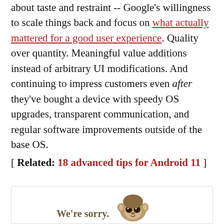about taste and restraint -- Google's willingness to scale things back and focus on what actually mattered for a good user experience. Quality over quantity. Meaningful value additions instead of arbitrary UI modifications. And continuing to impress customers even after they've bought a device with speedy OS upgrades, transparent communication, and regular software improvements outside of the base OS.
[ Related: 18 advanced tips for Android 11 ]
[Figure (illustration): A 'We're sorry' image showing a cartoon sloth face, used as a content blocker or apology graphic. Text reads 'We're sorry.' in brown bold font next to a sloth illustration.]